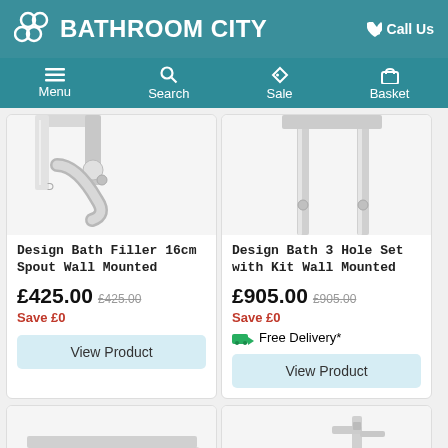BATHROOM CITY | Call Us
Menu | Search | Sale | Basket
[Figure (photo): Close-up photo of a chrome wall-mounted bath filler with 16cm spout]
Design Bath Filler 16cm Spout Wall Mounted
£425.00  £425.00
Save £0
[Figure (photo): Close-up photo of a chrome wall-mounted bath 3 hole set with kit]
Design Bath 3 Hole Set with Kit Wall Mounted
£905.00  £905.00
Save £0
Free Delivery*
[Figure (photo): Partial photo of a bathroom product at bottom left]
[Figure (photo): Partial photo of a bathroom faucet at bottom right]